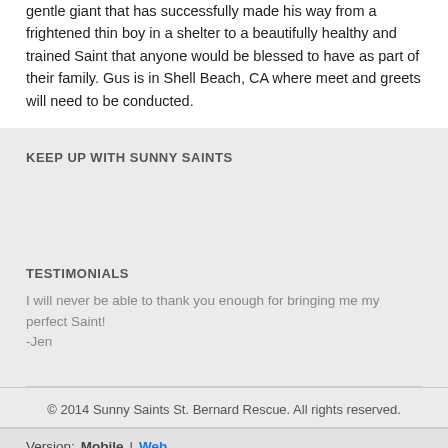gentle giant that has successfully made his way from a frightened thin boy in a shelter to a beautifully healthy and trained Saint that anyone would be blessed to have as part of their family. Gus is in Shell Beach, CA where meet and greets will need to be conducted.
KEEP UP WITH SUNNY SAINTS
TESTIMONIALS
I will never be able to thank you enough for bringing me my perfect Saint! -Jen
© 2014 Sunny Saints St. Bernard Rescue. All rights reserved.
Version:  Mobile | Web